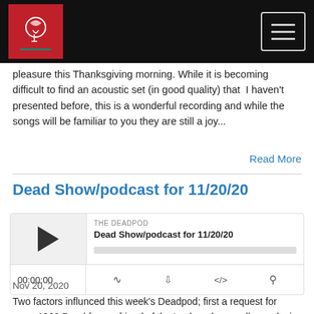[Site logo and navigation header]
pleasure this Thanksgiving morning. While it is becoming difficult to find an acoustic set (in good quality) that  I haven't presented before, this is a wonderful recording and while the songs will be familiar to you they are still a joy...
Read More
Dead Show/podcast for 11/20/20
[Figure (other): Podcast audio player showing 'THE DEADPOD' label, title 'Dead Show/podcast for 11/20/20', play button, progress bar, time 00:00:00, and controls for RSS, download, embed, and sharing]
Nov 20, 2020
Two factors influnced this week's Deadpod; first a request for more 1969 Dead from a friend of the 'pod, and secondly my desire to find a one-set tape that wouldn't run over into next